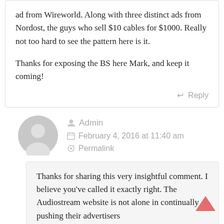ad from Wireworld. Along with three distinct ads from Nordost, the guys who sell $10 cables for $1000. Really not too hard to see the pattern here is it.

Thanks for exposing the BS here Mark, and keep it coming!
Reply
Admin
February 4, 2016 at 11:40 am
Permalink
Thanks for sharing this very insightful comment. I believe you've called it exactly right. The Audiostream website is not alone in continually pushing their advertisers